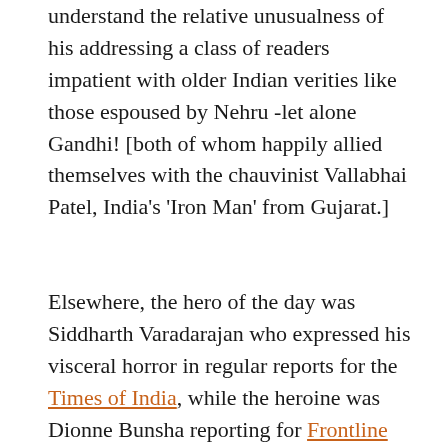understand the relative unusualness of his addressing a class of readers impatient with older Indian verities like those espoused by Nehru -let alone Gandhi! [both of whom happily allied themselves with the chauvinist Vallabhai Patel, India's 'Iron Man' from Gujarat.]
Elsewhere, the hero of the day was Siddharth Varadarajan who expressed his visceral horror in regular reports for the Times of India, while the heroine was Dionne Bunsha reporting for Frontline magazine, [see her site/blog]. Varadarajan also edited the first and still best book on the massacres; Gujarat; The Making of a Tragedy [Penguin India 2002] [look inside]...